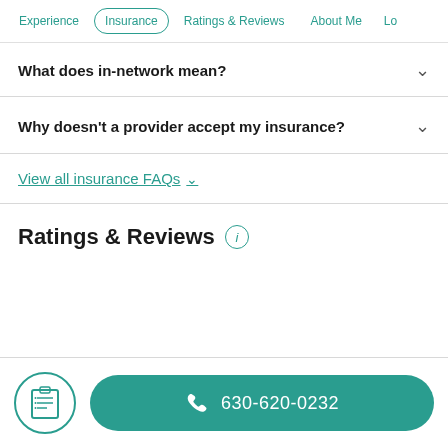Experience | Insurance | Ratings & Reviews | About Me | Loc
What does in-network mean?
Why doesn't a provider accept my insurance?
View all insurance FAQs
Ratings & Reviews
630-620-0232